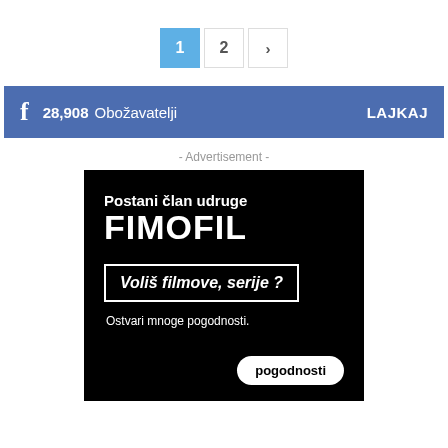1  2  >
[Figure (infographic): Facebook fan page bar showing 28,908 Obožavatelji and LAJKAJ button]
- Advertisement -
[Figure (infographic): Black advertisement banner for Fimofil association. Text: Postani član udruge FIMOFIL. Voliš filmove, serije ? Ostvari mnoge pogodnosti. Button: pogodnosti]